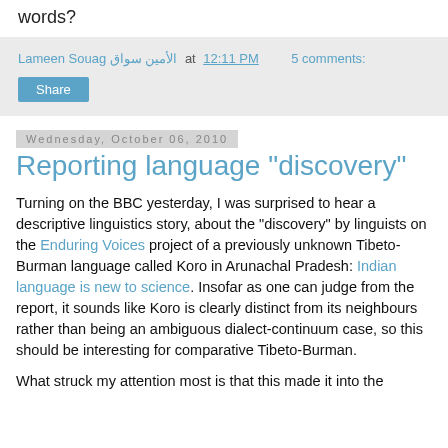words?
Lameen Souag الأمين سواق at 12:11 PM   5 comments:
Share
Wednesday, October 06, 2010
Reporting language "discovery"
Turning on the BBC yesterday, I was surprised to hear a descriptive linguistics story, about the "discovery" by linguists on the Enduring Voices project of a previously unknown Tibeto-Burman language called Koro in Arunachal Pradesh: Indian language is new to science. Insofar as one can judge from the report, it sounds like Koro is clearly distinct from its neighbours rather than being an ambiguous dialect-continuum case, so this should be interesting for comparative Tibeto-Burman.
What struck my attention most is that this made it into the